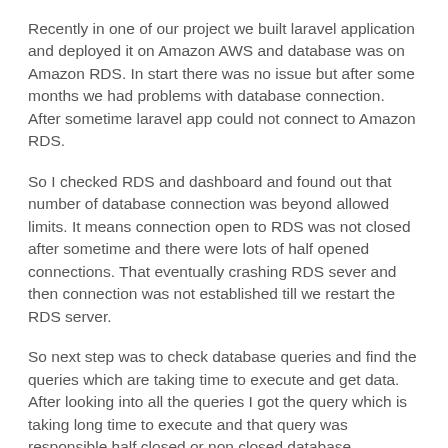Recently in one of our project we built laravel application and deployed it on Amazon AWS and database was on Amazon RDS. In start there was no issue but after some months we had problems with database connection. After sometime laravel app could not connect to Amazon RDS.
So I checked RDS and dashboard and found out that number of database connection was beyond allowed limits. It means connection open to RDS was not closed after sometime and there were lots of half opened connections. That eventually crashing RDS sever and then connection was not established till we restart the RDS server.
So next step was to check database queries and find the queries which are taking time to execute and get data. After looking into all the queries I got the query which is taking long time to execute and that query was responsible half closed or non closed database connections and which is ultimately crashing Amazon RDS server.
So how I fixed that. Well we have a only one solution to speed up database queries and that is